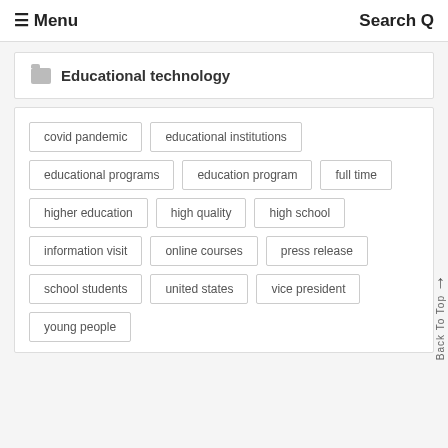≡ Menu    Search Q
Educational technology
covid pandemic
educational institutions
educational programs
education program
full time
higher education
high quality
high school
information visit
online courses
press release
school students
united states
vice president
young people